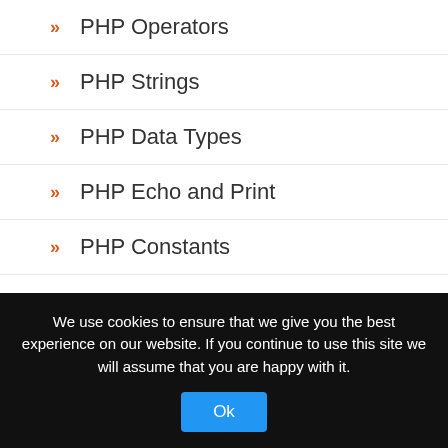PHP Operators
PHP Strings
PHP Data Types
PHP Echo and Print
PHP Constants
PHP Variables
PHP Syntax and Comments
Install PHP
PHP Introduction
We use cookies to ensure that we give you the best experience on our website. If you continue to use this site we will assume that you are happy with it.